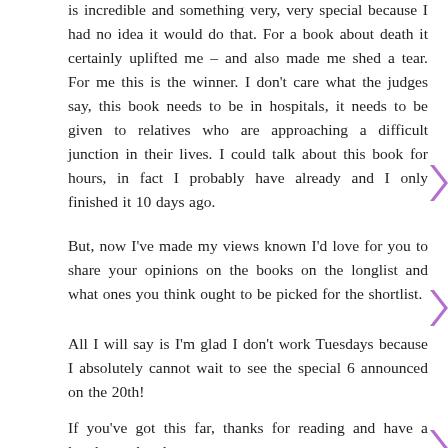is incredible and something very, very special because I had no idea it would do that. For a book about death it certainly uplifted me – and also made me shed a tear. For me this is the winner. I don't care what the judges say, this book needs to be in hospitals, it needs to be given to relatives who are approaching a difficult junction in their lives. I could talk about this book for hours, in fact I probably have already and I only finished it 10 days ago.
But, now I've made my views known I'd love for you to share your opinions on the books on the longlist and what ones you think ought to be picked for the shortlist.
All I will say is I'm glad I don't work Tuesdays because I absolutely cannot wait to see the special 6 announced on the 20th!
If you've got this far, thanks for reading and have a lovely weekend